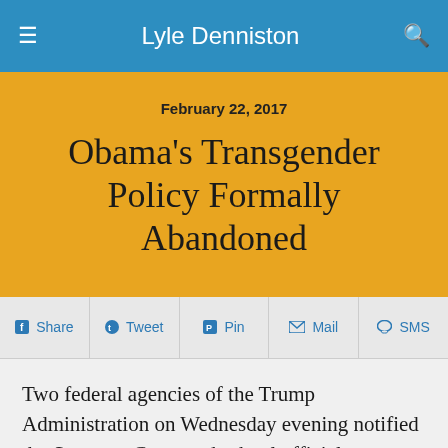Lyle Denniston
February 22, 2017
Obama's Transgender Policy Formally Abandoned
Share | Tweet | Pin | Mail | SMS
Two federal agencies of the Trump Administration on Wednesday evening notified the Supreme Court and school officials across the nation that the federal government will no longer require that transgender students get access to bathrooms and locker rooms